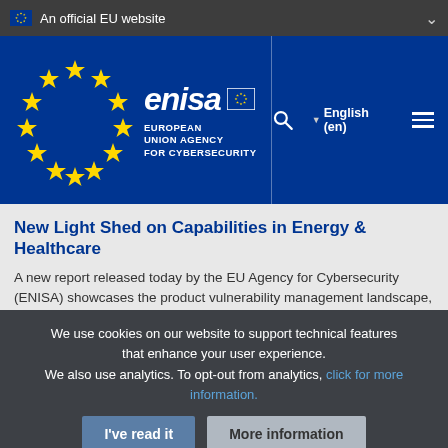An official EU website
[Figure (logo): ENISA – European Union Agency for Cybersecurity logo with EU flag circle of stars on blue background, with search icon, English language selector, and hamburger menu]
New Light Shed on Capabilities in Energy & Healthcare
A new report released today by the EU Agency for Cybersecurity (ENISA) showcases the product vulnerability management landscape, unveiling chall...
We use cookies on our website to support technical features that enhance your user experience.
We also use analytics. To opt-out from analytics, click for more information.
I've read it   More information